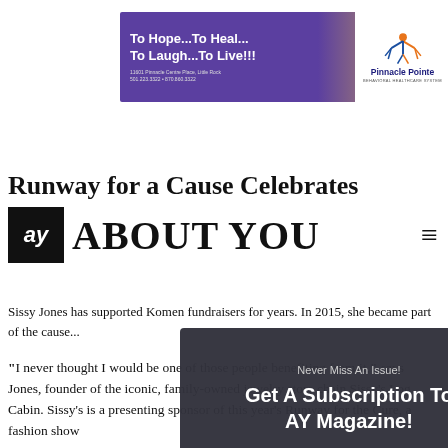[Figure (other): Pinnacle Pointe Behavioral Healthcare System advertisement banner with purple gradient background and logo. Text: 'To Hope...To Heal...To Laugh...To Live!!! 11601 Pinnacle Centre Place, Little Rock 501.223.3322 • 870.860.3322']
[Figure (logo): AY Magazine 'About You' logo with black square 'ay' icon and large serif 'ABOUT YOU' text, with hamburger menu icon]
[Figure (other): Modal popup overlay with dark background. Text: 'Never Miss An Issue! Get A Subscription To AY Magazine!' with purple 'GET AY MAGAZINE' button and 'Powered by Convert Plus™' footer. Close button (X) in top-right corner.]
Runway for a Cause Celebrates
Sissy Jones has supported Komen fundraisers for years. In 2015, she became part of the cause...
"I never thought I would be one of those people benefiting from it," says Jones, founder of the iconic, family-owned jewelry store chain Sissy's Log Cabin. Sissy's is a presenting sponsor of this year's Runway for the Cure, a fashion show